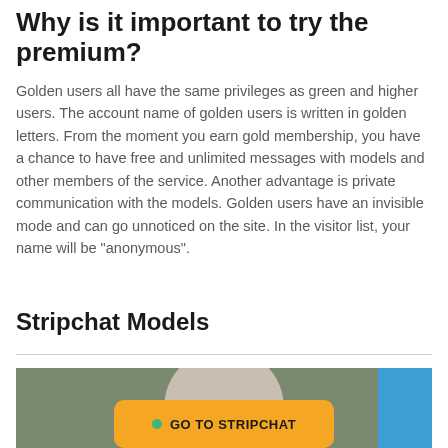Why is it important to try the premium?
Golden users all have the same privileges as green and higher users. The account name of golden users is written in golden letters. From the moment you earn gold membership, you have a chance to have free and unlimited messages with models and other members of the service. Another advantage is private communication with the models. Golden users have an invisible mode and can go unnoticed on the site. In the visitor list, your name will be “anonymous”.
Stripchat Models
[Figure (photo): Partial photo of a person with blonde hair against a green/muted background with a blue element on the right]
GO TO STRIPCHAT